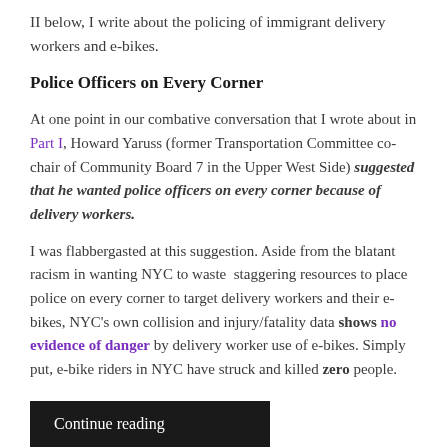II below, I write about the policing of immigrant delivery workers and e-bikes.
Police Officers on Every Corner
At one point in our combative conversation that I wrote about in Part I, Howard Yaruss (former Transportation Committee co-chair of Community Board 7 in the Upper West Side) suggested that he wanted police officers on every corner because of delivery workers.
I was flabbergasted at this suggestion. Aside from the blatant racism in wanting NYC to waste staggering resources to place police on every corner to target delivery workers and their e-bikes, NYC's own collision and injury/fatality data shows no evidence of danger by delivery worker use of e-bikes. Simply put, e-bike riders in NYC have struck and killed zero people.
Continue reading